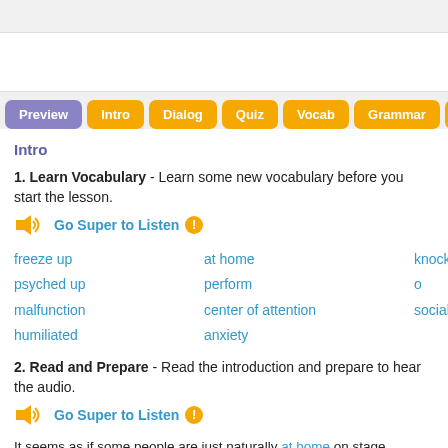[Figure (screenshot): Navigation tab bar with Preview (purple/active), Intro, Dialog, Quiz, Vocab, Grammar, Discus... (all orange) tabs]
Intro
1. Learn Vocabulary - Learn some new vocabulary before you start the lesson.
Go Super to Listen
freeze up
at home
knock o...
psyched up
perform
social
malfunction
center of attention
humiliated
anxiety
2. Read and Prepare - Read the introduction and prepare to hear the audio.
Go Super to Listen
It seems as if some people are just naturally at home on stage. Whether they're concert, these people are great at being the center of attention.